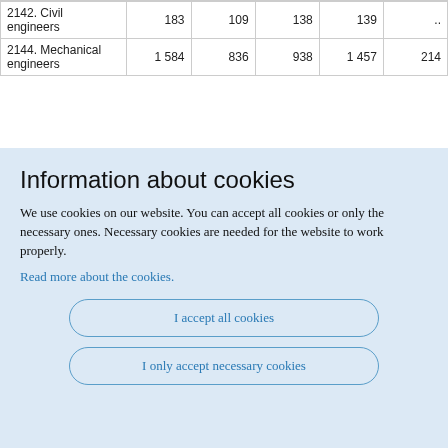| 2142. Civil engineers | 183 | 109 | 138 | 139 | .. |
| 2144. Mechanical engineers | 1 584 | 836 | 938 | 1 457 | 214 |
Information about cookies
We use cookies on our website. You can accept all cookies or only the necessary ones. Necessary cookies are needed for the website to work properly.
Read more about the cookies.
I accept all cookies
I only accept necessary cookies